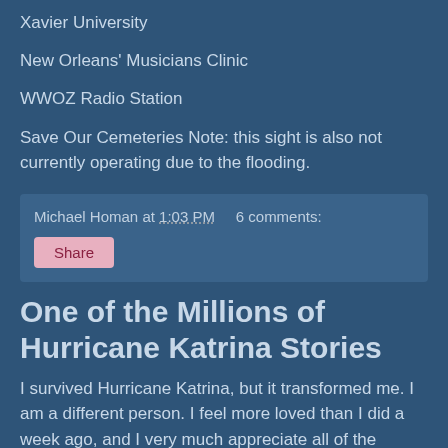Xavier University
New Orleans' Musicians Clinic
WWOZ Radio Station
Save Our Cemeteries Note: this sight is also not currently operating due to the flooding.
Michael Homan at 1:03 PM    6 comments:
Share
One of the Millions of Hurricane Katrina Stories
I survived Hurricane Katrina, but it transformed me. I am a different person. I feel more loved than I did a week ago, and I very much appreciate all of the friends and family and even strangers who both helped me directly and who contacted